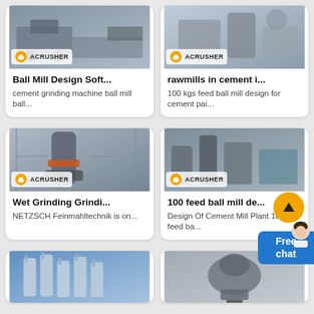[Figure (photo): Ball mill / crusher machine photo with Acrusher logo]
Ball Mill Design Soft...
cement grinding machine ball mill ball...
[Figure (photo): Raw mill in cement plant photo with Acrusher logo]
rawmills in cement i...
100 kgs feed ball mill design for cement pai...
[Figure (photo): Wet grinding machine vertical mill photo with Acrusher logo]
Wet Grinding Grindi...
NETZSCH Feinmahltechnik is on...
[Figure (photo): 100 feed ball mill design cement plant photo with Acrusher logo]
100 feed ball mill de...
Design Of Cement Mill Plant 100 kgs feed ba...
[Figure (photo): Industrial silos and equipment photo]
[Figure (photo): Industrial grinding machine photo]